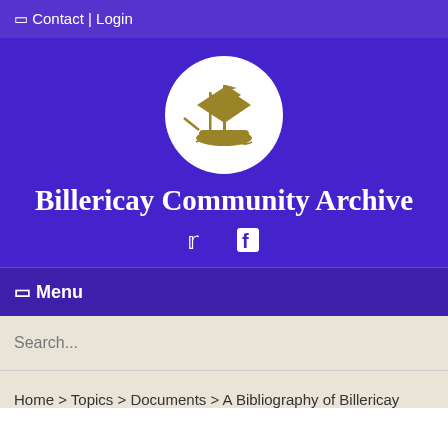☰ Contact | Login
[Figure (logo): White circle containing a golden sailing ship logo for Billericay Community Archive]
Billericay Community Archive
[Figure (other): Twitter and Facebook social media icons in white]
☰ Menu
Search...
Home > Topics > Documents > A Bibliography of Billericay